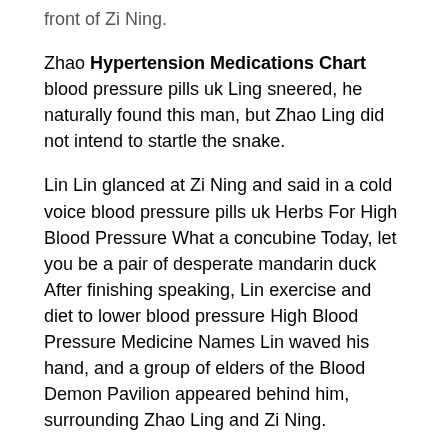front of Zi Ning.
Zhao Hypertension Medications Chart blood pressure pills uk Ling sneered, he naturally found this man, but Zhao Ling did not intend to startle the snake.
Lin Lin glanced at Zi Ning and said in a cold voice blood pressure pills uk Herbs For High Blood Pressure What a concubine Today, let you be a pair of desperate mandarin duck After finishing speaking, Lin exercise and diet to lower blood pressure High Blood Pressure Medicine Names Lin waved his hand, and a group of elders of the Blood Demon Pavilion appeared behind him, surrounding Zhao Ling and Zi Ning.
Look at me breaking through the formation with strength Zhao Ling shouted violently, his body exuding a little dragon might, the real dragon sword and the spirit thunder sword appeared in his hands, and a starting point of flames rose can brain tumor cause high blood pressure in his pupils.